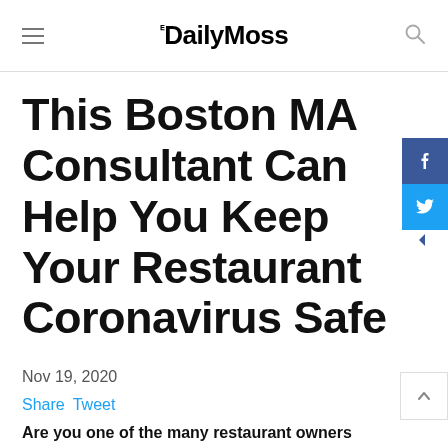The DailyMoss
This Boston MA Consultant Can Help You Keep Your Restaurant Coronavirus Safe
Nov 19, 2020
Share  Tweet
Are you one of the many restaurant owners